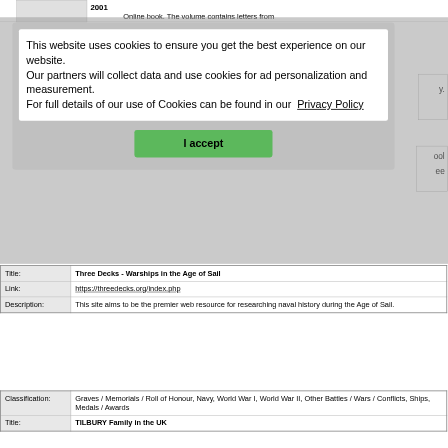Online book. The volume contains letters from
[Figure (screenshot): Cookie consent modal dialog with text: 'This website uses cookies to ensure you get the best experience on our website. Our partners will collect data and use cookies for ad personalization and measurement. For full details of our use of Cookies can be found in our Privacy Policy' and a green 'I accept' button.]
|  |  |
| --- | --- |
| Title: | Three Decks - Warships in the Age of Sail |
| Link: | https://threedecks.org/index.php |
| Description: | This site aims to be the premier web resource for researching naval history during the Age of Sail. |
|  |  |
| --- | --- |
| Classification: | Graves / Memorials / Roll of Honour, Navy, World War I, World War II, Other Battles / Wars / Conflicts, Ships, Medals / Awards |
| Title: | TILBURY Family in the UK |